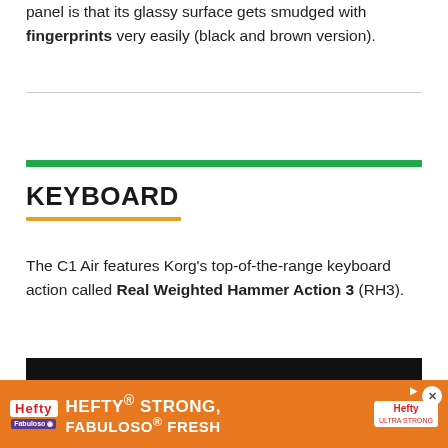panel is that its glassy surface gets smudged with fingerprints very easily (black and brown version).
KEYBOARD
The C1 Air features Korg's top-of-the-range keyboard action called Real Weighted Hammer Action 3 (RH3).
[Figure (photo): Dark/black rectangular image area, partially visible at bottom of page]
[Figure (other): Advertisement banner: Hefty brand ad reading HEFTY STRONG, FABULOSO FRESH on orange background with Hefty logos]